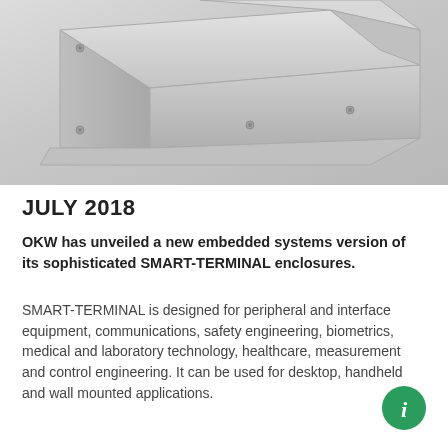[Figure (photo): Product photo of a silver/aluminum SMART-TERMINAL enclosure box viewed from a diagonal angle, showing the top and front face of the rectangular metal enclosure with visible corner screws, set against a light grey gradient background.]
JULY 2018
OKW has unveiled a new embedded systems version of its sophisticated SMART-TERMINAL enclosures.
SMART-TERMINAL is designed for peripheral and interface equipment, communications, safety engineering, biometrics, medical and laboratory technology, healthcare, measurement and control engineering. It can be used for desktop, handheld and wall mounted applications.